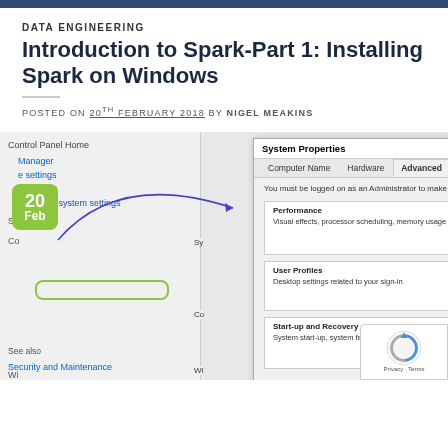DATA ENGINEERING
Introduction to Spark-Part 1: Installing Spark on Windows
POSTED ON 20TH FEBRUARY 2018 BY NIGEL MEAKINS
[Figure (screenshot): Windows System Properties dialog showing Advanced tab with Performance, User Profiles, Start-up and Recovery sections, and Environment Variables button circled. Control Panel Home sidebar visible on left with Advanced system settings link circled. Date badge showing '20 Feb' in green.]